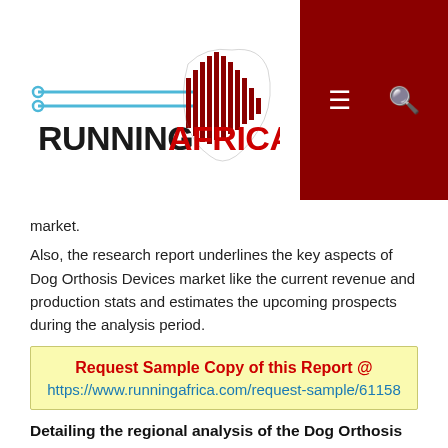RUNNINGAFRICA logo with navigation icons
market.
Also, the research report underlines the key aspects of Dog Orthosis Devices market like the current revenue and production stats and estimates the upcoming prospects during the analysis period.
Request Sample Copy of this Report @ https://www.runningafrica.com/request-sample/61158
Detailing the regional analysis of the Dog Orthosis Devices market:
The report includes a thorough geographical analysis of